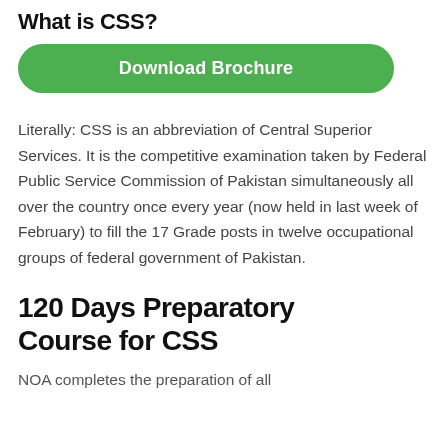What is CSS?
[Figure (other): Green rounded button labelled 'Download Brochure']
Literally: CSS is an abbreviation of Central Superior Services. It is the competitive examination taken by Federal Public Service Commission of Pakistan simultaneously all over the country once every year (now held in last week of February) to fill the 17 Grade posts in twelve occupational groups of federal government of Pakistan.
120 Days Preparatory Course for CSS
NOA completes the preparation of all